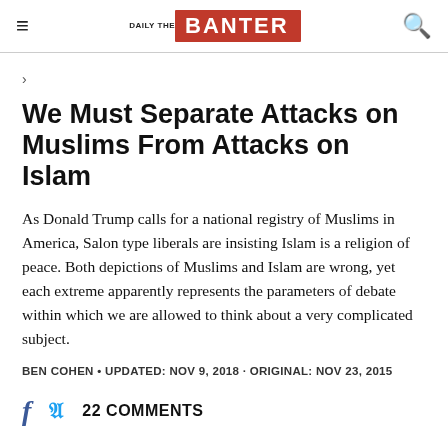Daily Banter
>
We Must Separate Attacks on Muslims From Attacks on Islam
As Donald Trump calls for a national registry of Muslims in America, Salon type liberals are insisting Islam is a religion of peace. Both depictions of Muslims and Islam are wrong, yet each extreme apparently represents the parameters of debate within which we are allowed to think about a very complicated subject.
BEN COHEN • UPDATED: NOV 9, 2018 · ORIGINAL: NOV 23, 2015
22 COMMENTS